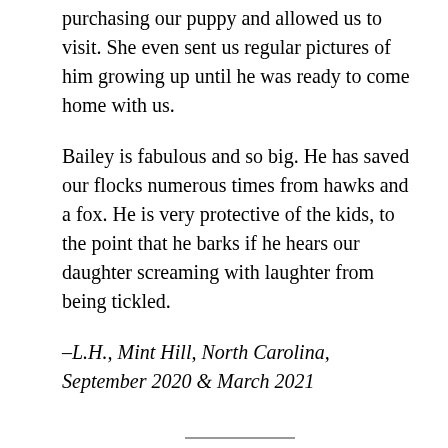purchasing our puppy and allowed us to visit. She even sent us regular pictures of him growing up until he was ready to come home with us.
Bailey is fabulous and so big. He has saved our flocks numerous times from hawks and a fox. He is very protective of the kids, to the point that he barks if he hears our daughter screaming with laughter from being tickled.
–L.H., Mint Hill, North Carolina,  September 2020 & March 2021
These doggies are amazing!!  We picked up our Gertie Girl in August from Mary Adore Coloney and we have been amazed every single day at